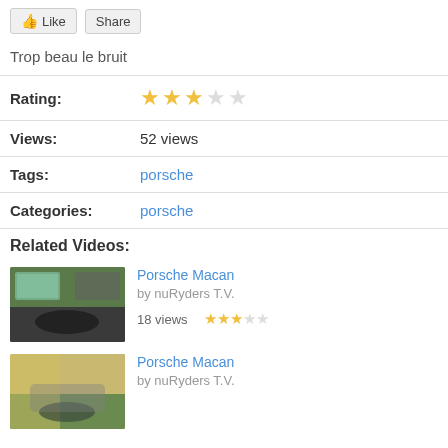Like | Share
Trop beau le bruit
Rating: ★★★☆☆
Views: 52 views
Tags: porsche
Categories: porsche
Related Videos:
Porsche Macan
by nuRyders T.V.
18 views ★★★☆☆
Porsche Macan
by nuRyders T.V.